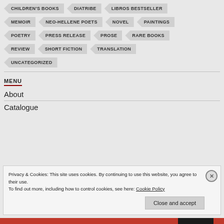CHILDREN'S BOOKS
DIATRIBE
LIBROS BESTSELLER
MEMOIR
NEO-HELLENE POETS
NOVEL
PAINTINGS
POETRY
PRESS RELEASE
PROSE
RARE BOOKS
REVIEW
SHORT FICTION
TRANSLATION
UNCATEGORIZED
MENU
About
Catalogue
Privacy & Cookies: This site uses cookies. By continuing to use this website, you agree to their use. To find out more, including how to control cookies, see here: Cookie Policy
Close and accept